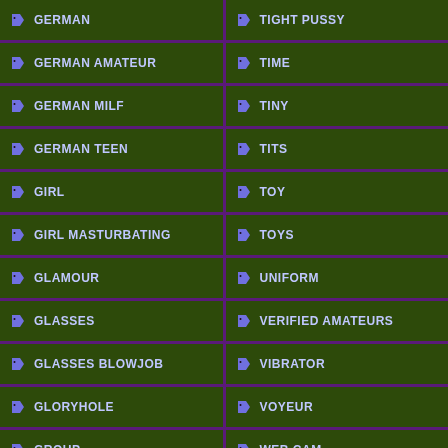GERMAN
TIGHT PUSSY
GERMAN AMATEUR
TIME
GERMAN MILF
TINY
GERMAN TEEN
TITS
GIRL
TOY
GIRL MASTURBATING
TOYS
GLAMOUR
UNIFORM
GLASSES
VERIFIED AMATEURS
GLASSES BLOWJOB
VIBRATOR
GLORYHOLE
VOYEUR
GROUP
WEB CAM